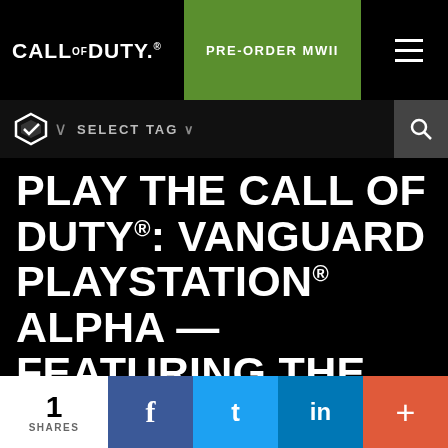CALL OF DUTY® | PRE-ORDER MWII
PLAY THE CALL OF DUTY®: VANGUARD PLAYSTATION® ALPHA — FEATURING THE NEW CHAMPION HILL MULTIPLAYER MODE — ON AUGUST 27–29
Free for all PS5 and PS4 owners, play a preview of the Call of Duty: Vanguard Multiplayer through its new mode Champion Hill in this limited-time Alpha,
1 SHARES | f | t | in | +